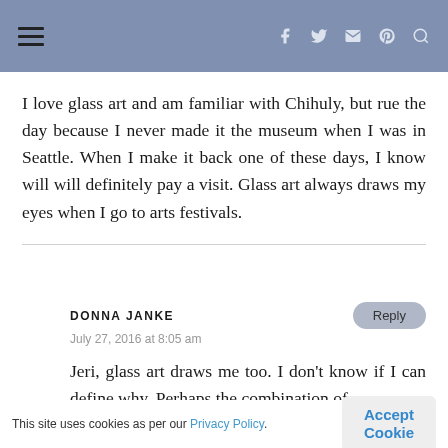≡   f  Twitter  Instagram  Pinterest  Search
I love glass art and am familiar with Chihuly, but rue the day because I never made it the museum when I was in Seattle. When I make it back one of these days, I know will will definitely pay a visit. Glass art always draws my eyes when I go to arts festivals.
DONNA JANKE
July 27, 2016 at 8:05 am
Jeri, glass art draws me too. I don't know if I can define why. Perhaps the combination of
This site uses cookies as per our Privacy Policy.  Accept Cookie